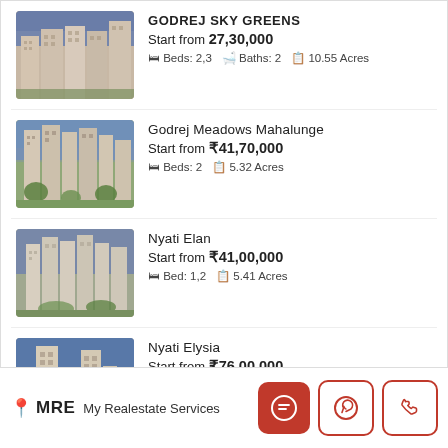GODREJ SKY GREENS
Start from 27,30,000
Beds: 2,3  Baths: 2  10.55 Acres
Godrej Meadows Mahalunge
Start from ₹41,70,000
Beds: 2  5.32 Acres
Nyati Elan
Start from ₹41,00,000
Bed: 1,2  5.41 Acres
Nyati Elysia
Start from ₹76,00,000
Beds: 2  6.78 Acres
MRE  My Realestate Services